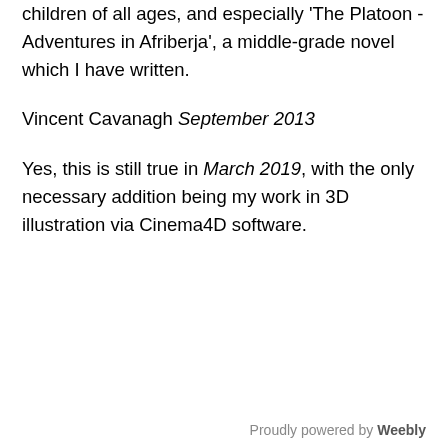children of all ages, and especially 'The Platoon - Adventures in Afriberja', a middle-grade novel which I have written.
Vincent Cavanagh September 2013
Yes, this is still true in March 2019, with the only necessary addition being my work in 3D illustration via Cinema4D software.
Proudly powered by Weebly